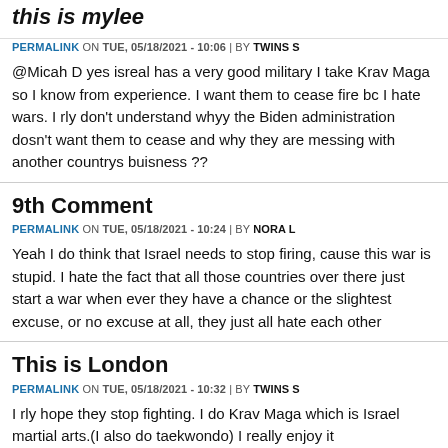this is mylee
PERMALINK ON TUE, 05/18/2021 - 10:06 | BY TWINS S
@Micah D yes isreal has a very good military I take Krav Maga so I know from experience. I want them to cease fire bc I hate wars. I rly don't understand whyy the Biden administration dosn't want them to cease and why they are messing with another countrys buisness ??
9th Comment
PERMALINK ON TUE, 05/18/2021 - 10:24 | BY NORA L
Yeah I do think that Israel needs to stop firing, cause this war is stupid. I hate the fact that all those countries over there just start a war when ever they have a chance or the slightest excuse, or no excuse at all, they just all hate each other
This is London
PERMALINK ON TUE, 05/18/2021 - 10:32 | BY TWINS S
I rly hope they stop fighting. I do Krav Maga which is Israel martial arts.(I also do taekwondo) I really enjoy it
.
PERMALINK ON TUE, 05/18/2021 - 10:35 | BY ABIGAIL E